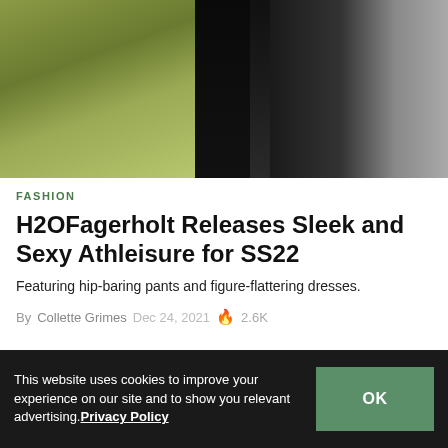[Figure (photo): Fashion photo showing a person in black clothing against a backdrop of greenery and a modern building exterior]
FASHION
H2OFagerholt Releases Sleek and Sexy Athleisure for SS22
Featuring hip-baring pants and figure-flattering dresses.
By Collette Grimes  Dec 24, 2021  🔥 2.6K
[Figure (screenshot): Black video player area]
This website uses cookies to improve your experience on our site and to show you relevant advertising. Privacy Policy  OK